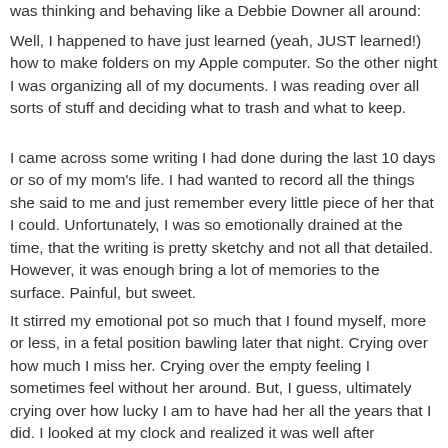was thinking and behaving like a Debbie Downer all around:
Well, I happened to have just learned (yeah, JUST learned!) how to make folders on my Apple computer. So the other night I was organizing all of my documents. I was reading over all sorts of stuff and deciding what to trash and what to keep.
I came across some writing I had done during the last 10 days or so of my mom's life. I had wanted to record all the things she said to me and just remember every little piece of her that I could. Unfortunately, I was so emotionally drained at the time, that the writing is pretty sketchy and not all that detailed. However, it was enough bring a lot of memories to the surface. Painful, but sweet.
It stirred my emotional pot so much that I found myself, more or less, in a fetal position bawling later that night. Crying over how much I miss her. Crying over the empty feeling I sometimes feel without her around. But, I guess, ultimately crying over how lucky I am to have had her all the years that I did. I looked at my clock and realized it was well after midnight. Saturday night and it was officially Sunday.